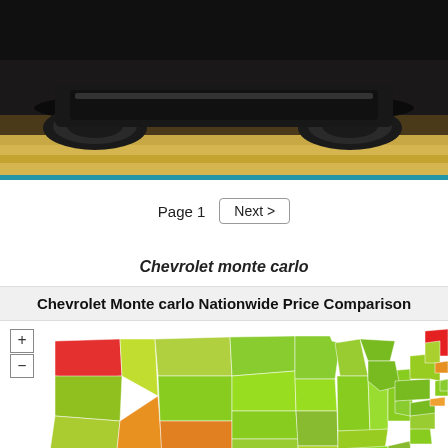[Figure (photo): Close-up photo of the front undercarriage and tires of a car on a road, with warm sandy/golden road surface visible]
Page 1  Next >
Chevrolet monte carlo
Chevrolet Monte carlo Nationwide Price Comparison
[Figure (map): Color-coded map of the United States showing Chevrolet Monte Carlo nationwide price comparison by state. States are colored from red (highest prices) to green (lowest prices) to yellow/orange (mid range). Washington state appears red (high price), Maine appears red (high price), most central and eastern states appear green (lower prices), and some southwestern states appear orange/yellow (mid prices). Map includes zoom controls (+ and -) in the upper left.]